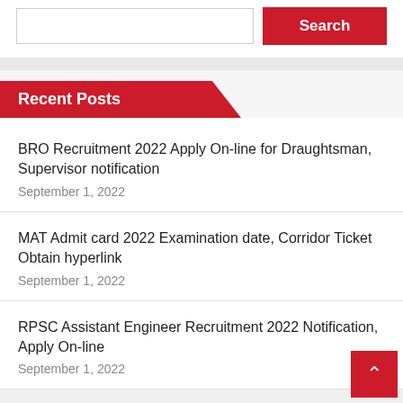Search
Recent Posts
BRO Recruitment 2022 Apply On-line for Draughtsman, Supervisor notification
September 1, 2022
MAT Admit card 2022 Examination date, Corridor Ticket Obtain hyperlink
September 1, 2022
RPSC Assistant Engineer Recruitment 2022 Notification, Apply On-line
September 1, 2022